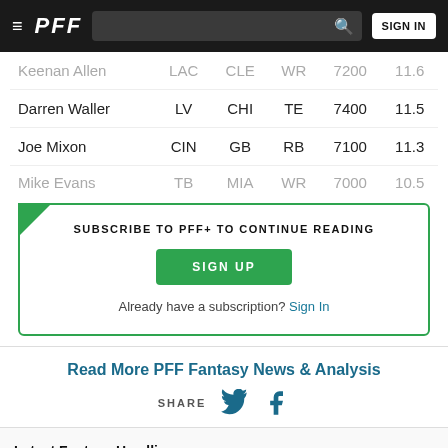PFF — SIGN IN
| Player | Team | Opp | Pos | Salary | Proj |
| --- | --- | --- | --- | --- | --- |
| Keenan Allen | LAC | CLE | WR | 7200 | 11.6 |
| Darren Waller | LV | CHI | TE | 7400 | 11.5 |
| Joe Mixon | CIN | GB | RB | 7100 | 11.3 |
| Mike Evans | TB | MIA | WR | 7000 | 10.5 |
SUBSCRIBE TO PFF+ TO CONTINUE READING
SIGN UP
Already have a subscription? Sign In
Read More PFF Fantasy News & Analysis
SHARE
Latest Fantasy Headlines